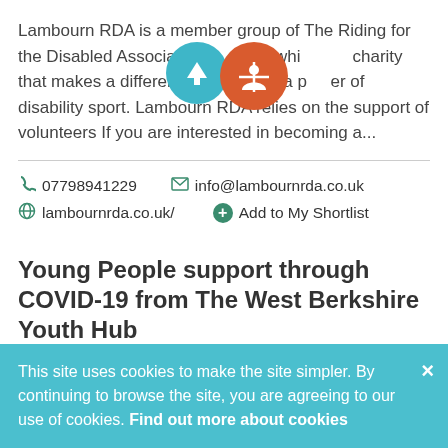Lambourn RDA is a member group of The Riding for the Disabled Association (RDA), which is a charity that makes a difference and excels as a pioneer of disability sport. Lambourn RDA relies on the support of volunteers If you are interested in becoming a...
07798941229   info@lambournrda.co.uk   lambournrda.co.uk/   Add to My Shortlist
Young People support through COVID-19 from The West Berkshire Youth Hub
A virtual and telephone based 'one-stop shop' platform...
This site uses cookies to make the site simpler. By continuing to browse the site, you are agreeing to our use of cookies. Find out more about cookies